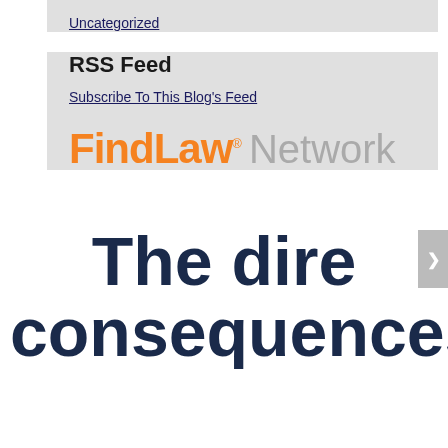Uncategorized
RSS Feed
Subscribe To This Blog's Feed
[Figure (logo): FindLaw Network logo — 'FindLaw' in orange bold text with registered trademark symbol, followed by 'Network' in gray]
The dire consequences